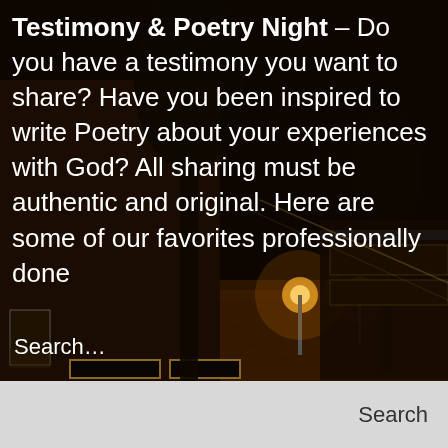[Figure (photo): Nighttime cobblestone street scene with warm orange street lamps illuminating a historic building facade with ornate gold-framed windows and panels. Dark atmospheric urban scene.]
Testimony & Poetry Night – Do you have a testimony you want to share? Have you been inspired to write Poetry about your experiences with God? All sharing must be authentic and original. Here are some of our favorites professionally done
Search…
Search